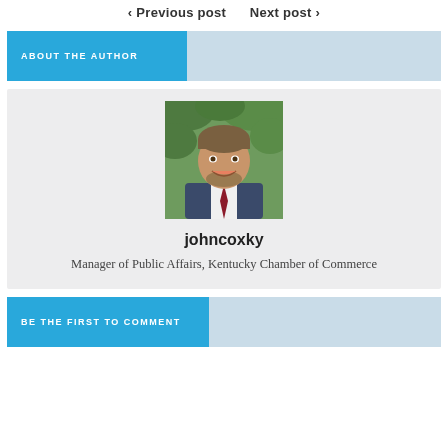< Previous post   Next post >
ABOUT THE AUTHOR
[Figure (photo): Headshot of a young man in a suit and tie, smiling, with greenery in the background]
johncoxky
Manager of Public Affairs, Kentucky Chamber of Commerce
BE THE FIRST TO COMMENT